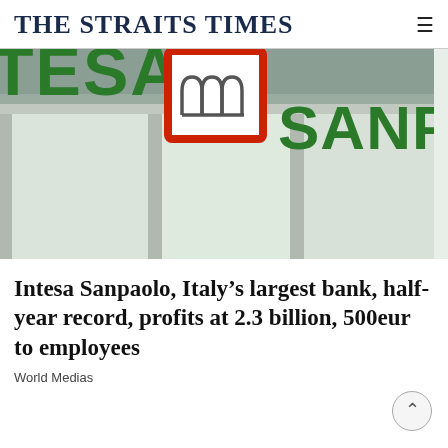THE STRAITS TIMES
[Figure (photo): Close-up photo of an Intesa Sanpaolo bank branch sign showing 'TESA' in large green letters on the left and 'SANPAOLO' in large green letters on the right, with the red-framed Intesa Sanpaolo logo (arch/bridge icon) in the center, against a light grey building facade.]
Intesa Sanpaolo, Italy’s largest bank, half-year record, profits at 2.3 billion, 500eur to employees
World Medias